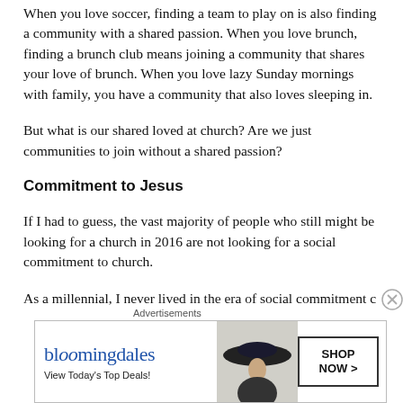When you love soccer, finding a team to play on is also finding a community with a shared passion. When you love brunch, finding a brunch club means joining a community that shares your love of brunch. When you love lazy Sunday mornings with family, you have a community that also loves sleeping in.
But what is our shared loved at church? Are we just communities to join without a shared passion?
Commitment to Jesus
If I had to guess, the vast majority of people who still might be looking for a church in 2016 are not looking for a social commitment to church.
As a millennial, I never lived in the era of social commitment c…
Advertisements
[Figure (infographic): Bloomingdale's advertisement with logo, 'View Today's Top Deals!' tagline, woman wearing large hat, and 'SHOP NOW >' button]